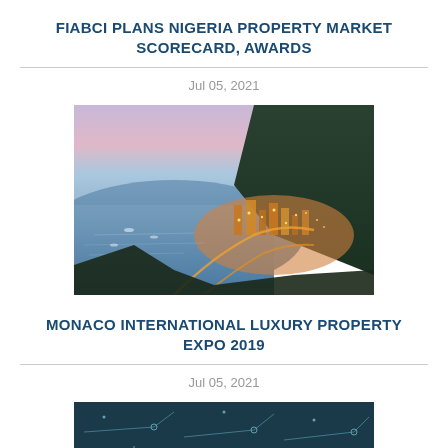FIABCI PLANS NIGERIA PROPERTY MARKET SCORECARD, AWARDS
Jul 05, 2021
[Figure (photo): Aerial cityscape photo of Monaco at dusk showing coastline, high-rise buildings glowing with lights, winding roads, and a dramatic sky with pink and blue sunset clouds.]
MONACO INTERNATIONAL LUXURY PROPERTY EXPO 2019
Jul 05, 2021
[Figure (photo): Dark teal/navy background image partially visible at bottom of page, appears to show decorative line art or illustrations.]